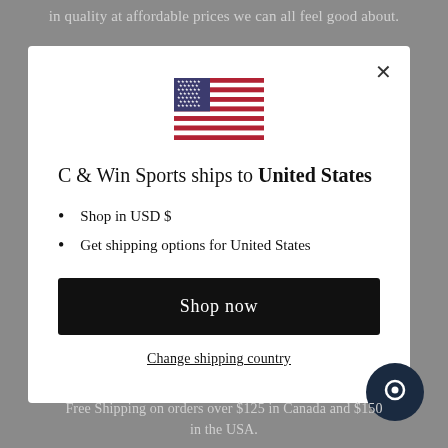in quality at affordable prices we can all feel good about.
[Figure (screenshot): Modal dialog with US flag, shipping information for United States, Shop now button, and Change shipping country link]
Free Shipping on orders over $125 in Canada and $150 in the USA.